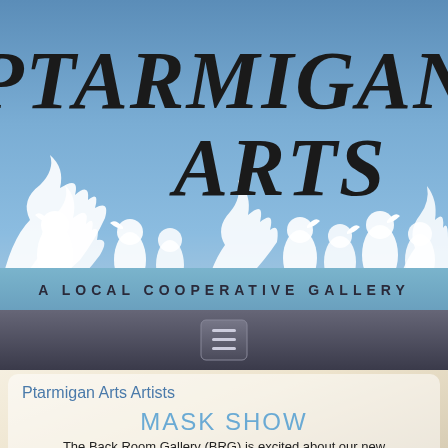[Figure (logo): Ptarmigan Arts logo banner with stylized bird silhouettes on a blue gradient background, italic bold text reading PTARMIGAN ARTS, and subtitle A LOCAL COOPERATIVE GALLERY]
[Figure (screenshot): Navigation bar with hamburger menu icon (three horizontal lines) on dark background]
Ptarmigan Arts Artists
MASK SHOW
By Ptarmigan Arts Gallery Artists
The Back Room Gallery (BRG) is excited about our new